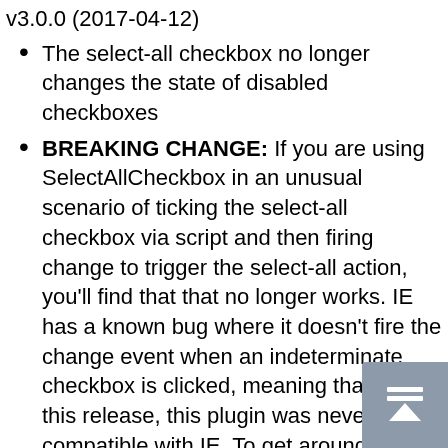v3.0.0 (2017-04-12)
The select-all checkbox no longer changes the state of disabled checkboxes
BREAKING CHANGE: If you are using SelectAllCheckbox in an unusual scenario of ticking the select-all checkbox via script and then firing change to trigger the select-all action, you'll find that that no longer works. IE has a known bug where it doesn't fire the change event when an indeterminate checkbox is clicked, meaning that until this release, this plugin was never fully compatible with IE. To get around the issue, the plugin now listens for the click event on the select-all checkbox instead of change. The other checkboxes continue to use the change event as they always have.
The select-all checkbox initializes to the proper state (checked, unchecked, indeterminate) based on the state of the checkbox group when the plugin is initialized
v2.0.1 (2016-09-01)
Fixed a bug where the 'select all' logic wasn't performing a